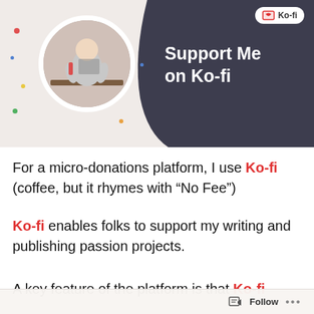[Figure (illustration): Ko-fi promotional banner with dark slate background on the right side, a circular profile photo of a person working at a desk on the left, confetti dots scattered around, Ko-fi logo badge in top right corner, and 'Support Me on Ko-fi' text in white.]
For a micro-donations platform, I use Ko-fi (coffee, but it rhymes with “No Fee”)
Ko-fi enables folks to support my writing and publishing passion projects.
A key feature of the platform is that Ko-fi
Follow ...